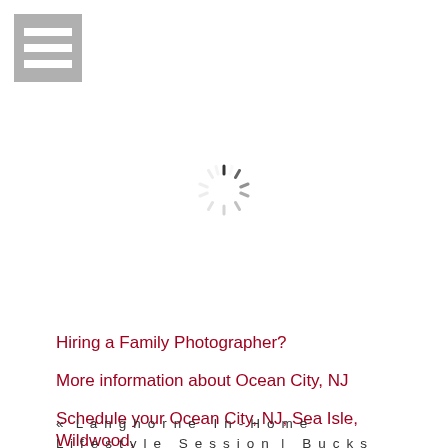[Figure (other): Hamburger menu icon: grey square background with three white horizontal bars]
[Figure (other): Loading spinner icon: circular arrangement of grey and black dashes indicating a loading state]
Hiring a Family Photographer?
More information about Ocean City, NJ
Schedule your Ocean City, NJ, Sea Isle, Wildwood, Avalon, Vetnor, Margate Beach Photo Shoot with Heather Thomas Photography today!
« L a n g h o r n e   I n - H o m e   L i f e s t y l e   S e s s i o n   |   B u c k s